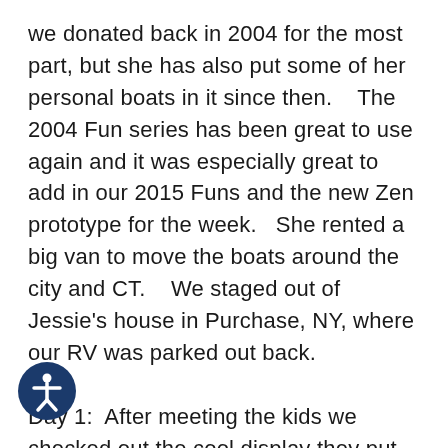we donated back in 2004 for the most part, but she has also put some of her personal boats in it since then.    The 2004 Fun series has been great to use again and it was especially great to add in our 2015 Funs and the new Zen prototype for the week.   She rented a big van to move the boats around the city and CT.    We staged out of Jessie's house in Purchase, NY, where our RV was parked out back.
Day 1:  After meeting the kids we checked out the cool display they put up in the "Tiger's Den" showing off some photos of last year's group and the Jackson Kayak T-